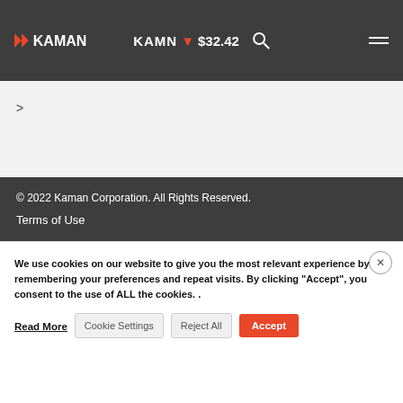KAMN ▼ $32.42
>
© 2022 Kaman Corporation. All Rights Reserved.
Terms of Use
We use cookies on our website to give you the most relevant experience by remembering your preferences and repeat visits. By clicking "Accept", you consent to the use of ALL the cookies. .
Read More
Cookie Settings
Reject All
Accept